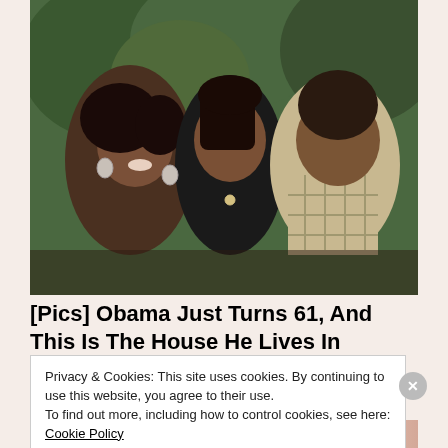[Figure (photo): Three people posing together for a family portrait outdoors with green foliage background. A woman in black dress on left, younger woman in black spaghetti-strap top in center wearing a necklace, and a man in plaid shirt on right.]
[Pics] Obama Just Turns 61, And This Is The House He Lives In
BuzzAura
Privacy & Cookies: This site uses cookies. By continuing to use this website, you agree to their use.
To find out more, including how to control cookies, see here: Cookie Policy
Close and accept